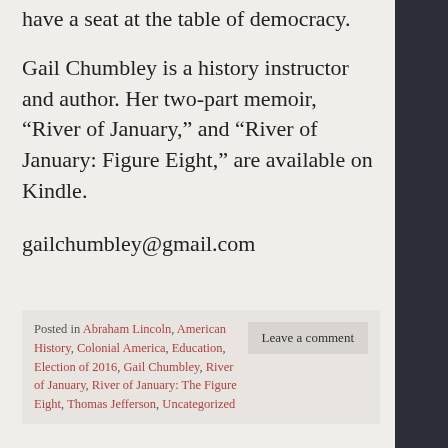have a seat at the table of democracy.
Gail Chumbley is a history instructor and author. Her two-part memoir, “River of January,” and “River of January: Figure Eight,” are available on Kindle.
gailchumbley@gmail.com
Posted in Abraham Lincoln, American History, Colonial America, Education, Election of 2016, Gail Chumbley, River of January, River of January: The Figure Eight, Thomas Jefferson, Uncategorized
Leave a comment